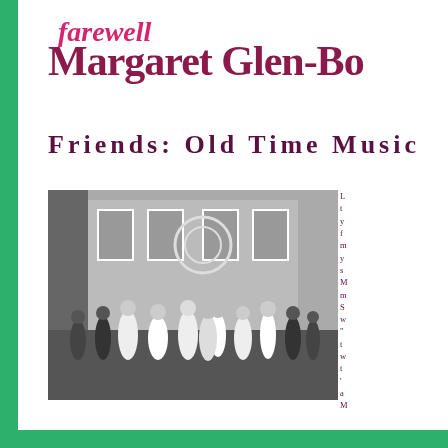farewell Margaret Glen-Bo
Friends: Old Time Music
[Figure (photo): Black and white photograph of a theatrical stage performance with many performers in period costumes — sailors, women in white dresses, and others in dark formal attire — gathered on stage in front of a decorated set with windows and ornamental designs.]
L t y f m y s M m S w " t w t ' a M